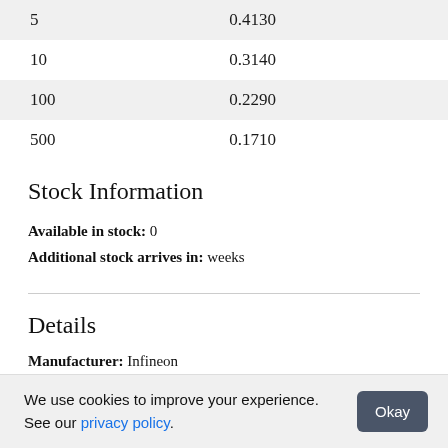| Quantity | Price |
| --- | --- |
| 5 | 0.4130 |
| 10 | 0.3140 |
| 100 | 0.2290 |
| 500 | 0.1710 |
Stock Information
Available in stock: 0
Additional stock arrives in: weeks
Details
Manufacturer: Infineon
Download Datasheet
We use cookies to improve your experience. See our privacy policy.